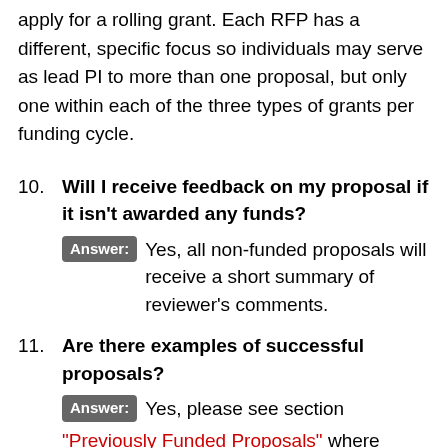apply for a rolling grant. Each RFP has a different, specific focus so individuals may serve as lead PI to more than one proposal, but only one within each of the three types of grants per funding cycle.
10. Will I receive feedback on my proposal if it isn't awarded any funds? Answer: Yes, all non-funded proposals will receive a short summary of reviewer's comments.
11. Are there examples of successful proposals? Answer: Yes, please see section “Previously Funded Proposals” where